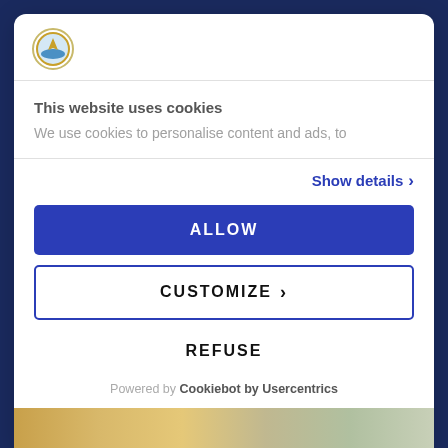[Figure (logo): Circular logo with coastal/sailing scene in gold border]
This website uses cookies
We use cookies to personalise content and ads, to
Show details >
ALLOW
CUSTOMIZE >
REFUSE
Powered by Cookiebot by Usercentrics